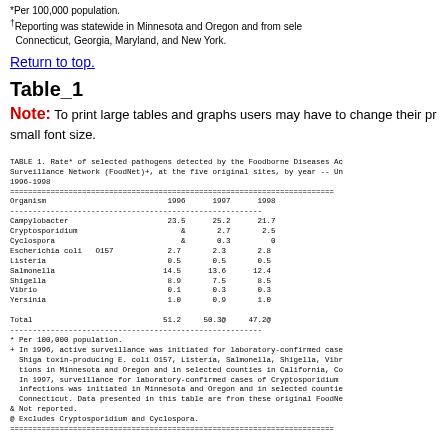*Per 100,000 population.
†Reporting was statewide in Minnesota and Oregon and from selected counties in Connecticut, Georgia, Maryland, and New York.
Return to top.
Table_1
Note: To print large tables and graphs users may have to change their printer settings to small font size.
| Organism | 1996 | 1997 | 1998 |
| --- | --- | --- | --- |
| Campylobacter | 23.5 | 25.2 | 21.7 |
| Cryptosporidium | & | 2.7 | 2.5 |
| Cyclospora | & | 0.3 | 0 |
| Escherichia coli  O157 | 2.7 | 2.3 | 2.8 |
| Listeria | 0.5 | 0.5 | 0.5 |
| Salmonella | 14.5 | 13.6 | 12.4 |
| Shigella | 8.9 | 7.5 | 8.5 |
| Vibrio | 0.1 | 0.3 | 0.3 |
| Yersinia | 1.0 | 0.9 | 1.0 |
| Total | 51.2 | 50.3@ | 47.2@ |
* Per 100,000 population.
+ In 1996, active surveillance was initiated for laboratory-confirmed cases of Shiga toxin-producing E. coli O157, Listeria, Salmonella, Shigella, Vibrio infections in Minnesota and Oregon and in selected counties in California, Connecticut. In 1997, surveillance for laboratory-confirmed cases of Cryptosporidium infections was initiated in Minnesota and Oregon and in selected counties in Connecticut. Data presented in this table are from these original FoodNet sites.
& Not reported.
@ Excludes Cryptosporidium and Cyclospora.